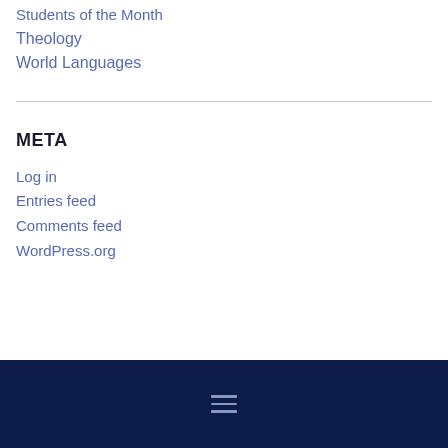Students of the Month
Theology
World Languages
META
Log in
Entries feed
Comments feed
WordPress.org